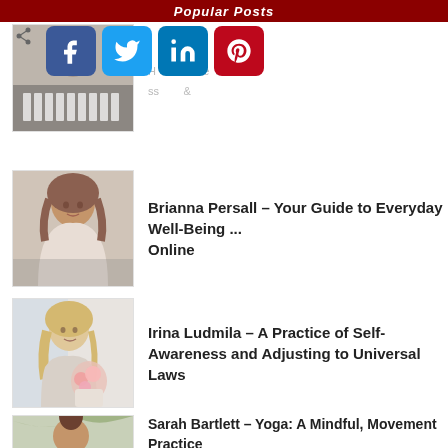Popular Posts
[Figure (infographic): Social sharing icons: share icon, Facebook (blue), Twitter (blue), LinkedIn (blue), Pinterest (red)]
[Figure (photo): Partial image of a woman at a piano with share icon overlay]
Brianna Persall – Your Guide to Everyday Well-Being ... Online
[Figure (photo): Photo of a young woman with curly hair sitting casually]
Irina Ludmila – A Practice of Self-Awareness and Adjusting to Universal Laws
[Figure (photo): Photo of a blonde woman sitting near flowers]
Sarah Bartlett – Yoga: A Mindful, Movement Practice with New Levels of Learning